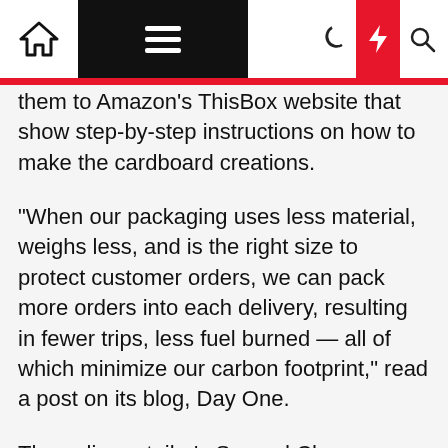[Navigation bar with home, menu, dark mode, flash, and search icons]
them to Amazon's ThisBox website that show step-by-step instructions on how to make the cardboard creations.
“When our packaging uses less material, weighs less, and is the right size to protect customer orders, we can pack more orders into each delivery, resulting in fewer trips, less fuel burned — all of which minimize our carbon footprint,” read a post on its blog, Day One.
The online retailer's Second Chance program also provides customers with information on how they can recycle packaging, as well as how to trade in, repair or dispose of both Amazon and non-Amazon devices and products.
In recent years, Amazon has ramped up its efforts in eco-friendly packaging, delivery and other business